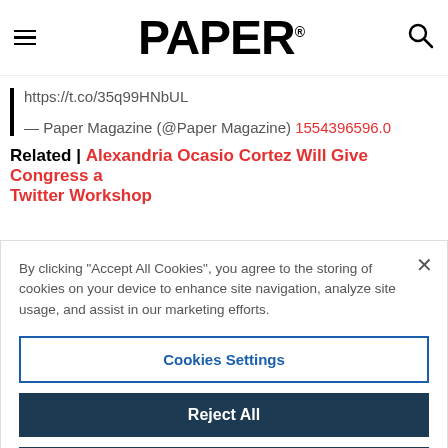PAPER®
https://t.co/35q99HNbUL
— Paper Magazine (@Paper Magazine) 1554396596.0
Related | Alexandria Ocasio Cortez Will Give Congress a Twitter Workshop
By clicking "Accept All Cookies", you agree to the storing of cookies on your device to enhance site navigation, analyze site usage, and assist in our marketing efforts.
Cookies Settings
Reject All
Accept All Cookies